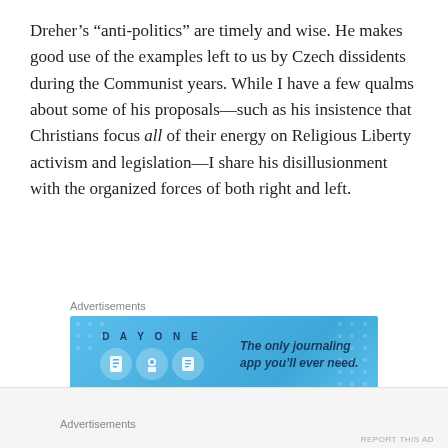Dreher’s “anti-politics” are timely and wise. He makes good use of the examples left to us by Czech dissidents during the Communist years. While I have a few qualms about some of his proposals—such as his insistence that Christians focus all of their energy on Religious Liberty activism and legislation—I share his disillusionment with the organized forces of both right and left.
Advertisements
[Figure (infographic): Day One journaling app advertisement banner with blue background, icons, and text: 'The only journaling app you’ll ever need.']
REPORT THIS AD
I also commend him on his total disdain for Donald
Advertisements
REPORT THIS AD